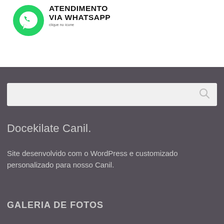[Figure (logo): WhatsApp green logo with phone icon and text: ATENDIMENTO VIA WHATSAPP with small subtitle text below]
[Figure (other): Search bar with magnifying glass icon on dark grey background]
Docekilate Canil.
Site desenvolvido com o WordPress e customizado personalizado para nosso Canil.
GALERIA DE FOTOS